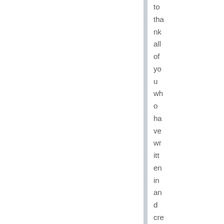to thank all of you who have written in and created groups and prote ste